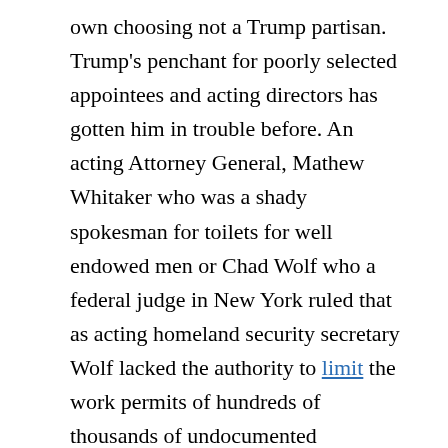own choosing not a Trump partisan. Trump's penchant for poorly selected appointees and acting directors has gotten him in trouble before. An acting Attorney General, Mathew Whitaker who was a shady spokesman for toilets for well endowed men or Chad Wolf who a federal judge in New York ruled that as acting homeland security secretary Wolf lacked the authority to limit the work permits of hundreds of thousands of undocumented immigrants who came to the United States as children because his appointment to the top position in the department did not appear to be lawful are just some examples of how disastrous Trump has been about employing the best people to do the jobs for which they are appointed. One could